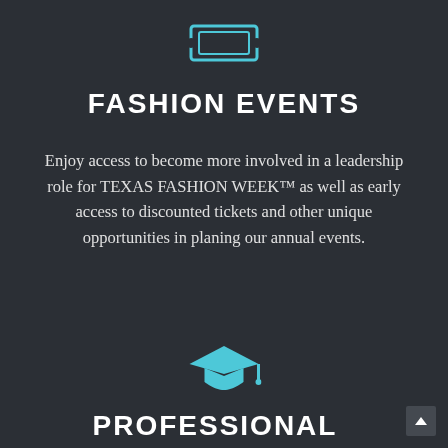[Figure (illustration): Cyan/teal ticket icon at the top center of the section]
FASHION EVENTS
Enjoy access to become more involved in a leadership role for TEXAS FASHION WEEK™ as well as early access to discounted tickets and other unique opportunities in planing our annual events.
[Figure (illustration): Cyan/teal graduation cap icon in the lower section]
PROFESSIONAL EDUCATION